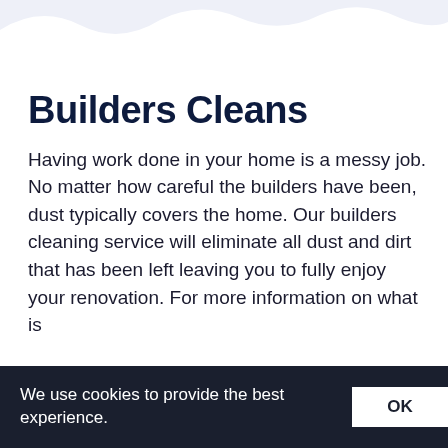[Figure (illustration): Light lavender/blue wave decorative header background at top of page]
Builders Cleans
Having work done in your home is a messy job. No matter how careful the builders have been, dust typically covers the home. Our builders cleaning service will eliminate all dust and dirt that has been left leaving you to fully enjoy your renovation. For more information on what is
We use cookies to provide the best experience.
OK